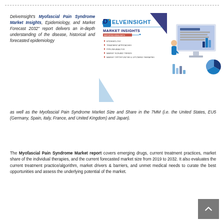DelveInsight's Myofascial Pain Syndrome Market Insights, Epidemiology, and Market Forecast 2032" report delivers an in-depth understanding of the disease, historical and forecasted epidemiology as well as the Myofascial Pain Syndrome Market Size and Share in the 7MM (i.e. the United States, EU5 (Germany, Spain, Italy, France, and United Kingdom) and Japan).
[Figure (logo): DelveInsight logo with text MARKET INSIGHTS and bullet list items]
[Figure (illustration): Isometric illustration of a person working at a computer with charts]
The Myofascial Pain Syndrome Market report covers emerging drugs, current treatment practices, market share of the individual therapies, and the current forecasted market size from 2019 to 2032. It also evaluates the current treatment practice/algorithm, market drivers & barriers, and unmet medical needs to curate the best opportunities and assess the underlying potential of the market.